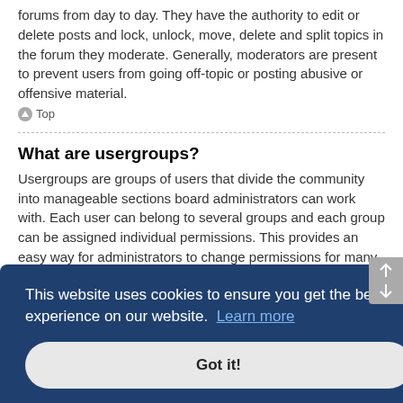forums from day to day. They have the authority to edit or delete posts and lock, unlock, move, delete and split topics in the forum they moderate. Generally, moderators are present to prevent users from going off-topic or posting abusive or offensive material.
Top
What are usergroups?
Usergroups are groups of users that divide the community into manageable sections board administrators can work with. Each user can belong to several groups and each group can be assigned individual permissions. This provides an easy way for administrators to change permissions for many users at once, such as changing moderator permissions or granting users access to a private forum.
Top
This website uses cookies to ensure you get the best experience on our website. Learn more
Got it!
User ... some may ... have hidden memberships. If the group is open, you can join it by clicking the appropriate button...